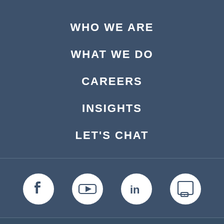WHO WE ARE
WHAT WE DO
CAREERS
INSIGHTS
LET'S CHAT
[Figure (logo): Social media icons: Facebook, YouTube, LinkedIn, and a square chat/glassdoor icon, each in a white circle on dark blue background]
© 2022 AG Consulting Partners. All Rights Reserved.